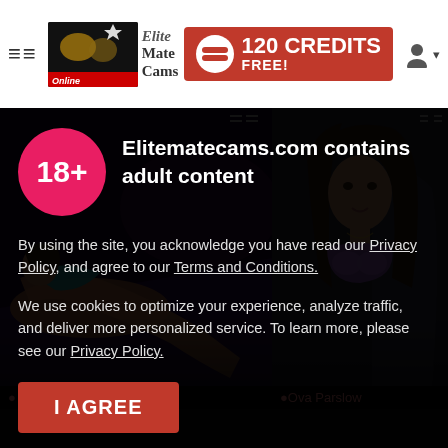≡≡ Elite Mate Cams Online
120 CREDITS FREE!
[Figure (screenshot): Two adult content thumbnail images side by side. Left: woman in teal top lying on a purple-lit surface. Right: woman with long brown hair in purple bra looking at camera.]
Samantha Dumont
Ova Parslow
Elitematecams.com contains adult content
By using the site, you acknowledge you have read our Privacy Policy, and agree to our Terms and Conditions.
We use cookies to optimize your experience, analyze traffic, and deliver more personalized service. To learn more, please see our Privacy Policy.
I AGREE